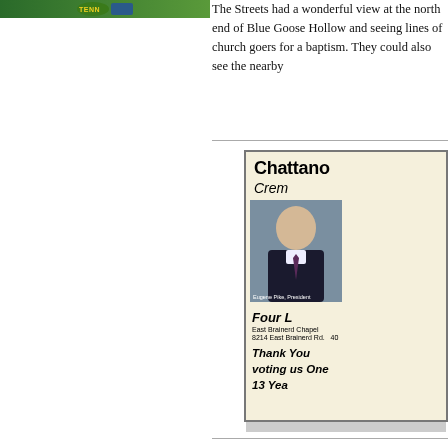[Figure (logo): Tennessee logo/banner image in green at top left]
The Streets had a wonderful view at the north end of Blue Goose Hollow and seeing lines of church goers for a baptism. They could also see the nearby
[Figure (other): Chattanooga Cremation advertisement with photo of Eugene Pike, President. Text includes 'Four locations', 'East Brainerd Chapel', '8214 East Brainerd Rd.', 'Thank You voting us One... 13 Yea...']
Their house was near the wide, steep concrete remembered by many of its residents.
Frances said the houses on Cameron Hill did large homes that had apartments attached to...